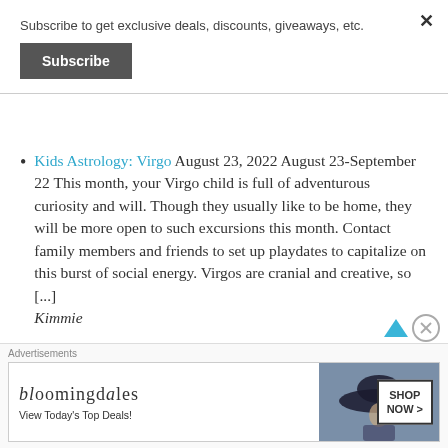Subscribe to get exclusive deals, discounts, giveaways, etc.
Subscribe
Kids Astrology: Virgo August 23, 2022 August 23-September 22 This month, your Virgo child is full of adventurous curiosity and will. Though they usually like to be home, they will be more open to such excursions this month. Contact family members and friends to set up playdates to capitalize on this burst of social energy. Virgos are cranial and creative, so [...] Kimmie
Advertisements
[Figure (screenshot): Bloomingdale's advertisement banner: 'View Today's Top Deals!' with SHOP NOW > button and image of woman in wide-brim hat]